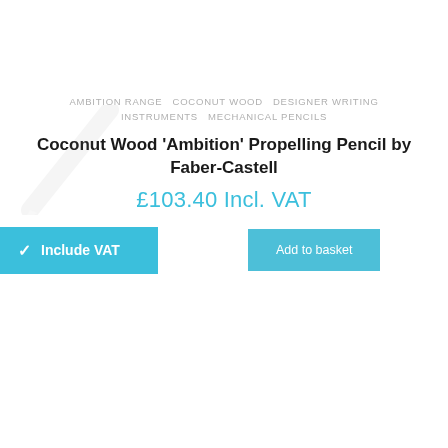AMBITION RANGE  COCONUT WOOD  DESIGNER WRITING INSTRUMENTS  MECHANICAL PENCILS
Coconut Wood 'Ambition' Propelling Pencil by Faber-Castell
£103.40 Incl. VAT
✓ Include VAT
Add to basket